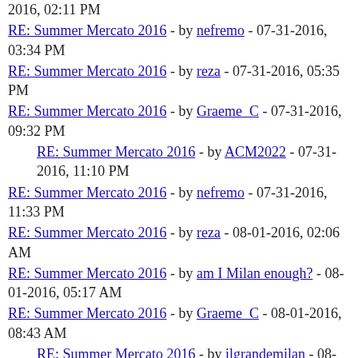2016, 02:11 PM
RE: Summer Mercato 2016 - by nefremo - 07-31-2016, 03:34 PM
RE: Summer Mercato 2016 - by reza - 07-31-2016, 05:35 PM
RE: Summer Mercato 2016 - by Graeme_C - 07-31-2016, 09:32 PM
RE: Summer Mercato 2016 - by ACM2022 - 07-31-2016, 11:10 PM
RE: Summer Mercato 2016 - by nefremo - 07-31-2016, 11:33 PM
RE: Summer Mercato 2016 - by reza - 08-01-2016, 02:06 AM
RE: Summer Mercato 2016 - by am I Milan enough? - 08-01-2016, 05:17 AM
RE: Summer Mercato 2016 - by Graeme_C - 08-01-2016, 08:43 AM
RE: Summer Mercato 2016 - by ilgrandemilan - 08-01-2016, 10:46 AM
RE: Summer Mercato 2016 - by sylrus - 08-01-2016, 11:08 AM
RE: Summer Mercato 2016 - by Graeme_C - 08-01-2016, 01:49 PM
RE: Summer Mercato 2016 - by Sampinjon - 08-01-2016, 02:02 PM
RE: Summer Mercato 2016 - by millinarios - 08-01-2016, 02:15 PM
RE: Summer Mercato 2016 - by am I Milan enough? - 08-01-2016, 03:46 PM